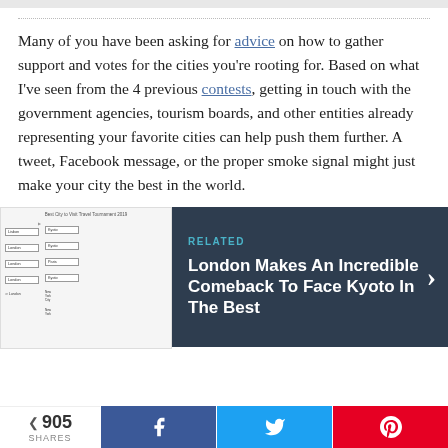Many of you have been asking for advice on how to gather support and votes for the cities you're rooting for. Based on what I've seen from the 4 previous contests, getting in touch with the government agencies, tourism boards, and other entities already representing your favorite cities can help push them further. A tweet, Facebook message, or the proper smoke signal might just make your city the best in the world.
[Figure (other): Tournament bracket image showing Best City to Visit Travel Tournament 2019 with cities including Lisbon, London, Kyoto, Paris, New York City]
[Figure (other): Related article box with dark navy background. Label: RELATED. Title: London Makes An Incredible Comeback To Face Kyoto In The Best]
905 SHARES  [Facebook share button]  [Twitter share button]  [Pinterest share button]